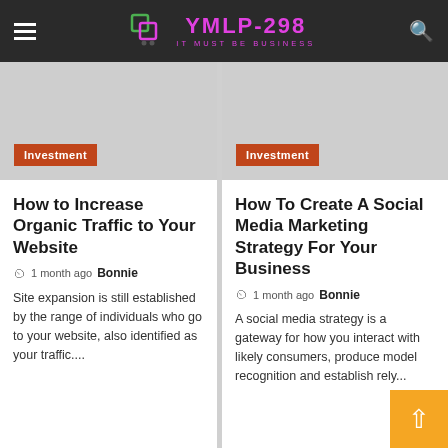YMLP-298 IT MUST BE BUSINESS
[Figure (photo): Gray placeholder image for article thumbnail, left column, with Investment badge]
[Figure (photo): Gray placeholder image for article thumbnail, right column, with Investment badge]
How to Increase Organic Traffic to Your Website
1 month ago  Bonnie
Site expansion is still established by the range of individuals who go to your website, also identified as your traffic....
How To Create A Social Media Marketing Strategy For Your Business
1 month ago  Bonnie
A social media strategy is a gateway for how you interact with likely consumers, produce model recognition and establish rely...